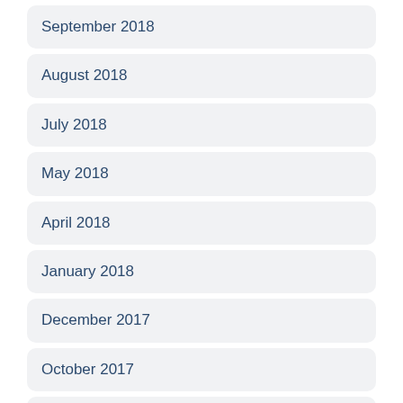September 2018
August 2018
July 2018
May 2018
April 2018
January 2018
December 2017
October 2017
August 2017
July 2017
June 2017
May 2017